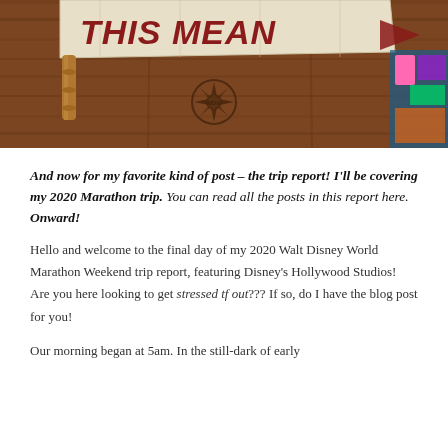[Figure (photo): Photo of a wooden wall with a banner reading 'THIS MEAN...' (partially visible), bamboo pipe details, a compass/sun emblem burned into the wood, and colorful merchandise visible in the background right.]
And now for my favorite kind of post – the trip report! I'll be covering my 2020 Marathon trip. You can read all the posts in this report here. Onward!
Hello and welcome to the final day of my 2020 Walt Disney World Marathon Weekend trip report, featuring Disney's Hollywood Studios! Are you here looking to get stressed tf out??? If so, do I have the blog post for you!
Our morning began at 5am. In the still-dark of early